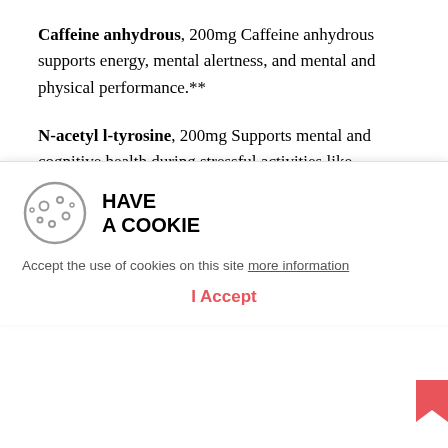Caffeine anhydrous, 200mg Caffeine anhydrous supports energy, mental alertness, and mental and physical performance.**
N-acetyl l-tyrosine, 200mg Supports mental and cognitive health during stressful activities like physical training.**
Huperzine A, 50mcg This nootropic may support memory, learning, and concentration—key qualities for a strong mind-muscle connection and productive
[Figure (other): Cookie consent banner with cookie icon and 'HAVE A COOKIE' title, text 'Accept the use of cookies on this site more information', and an 'I Accept' button in red/salmon color]